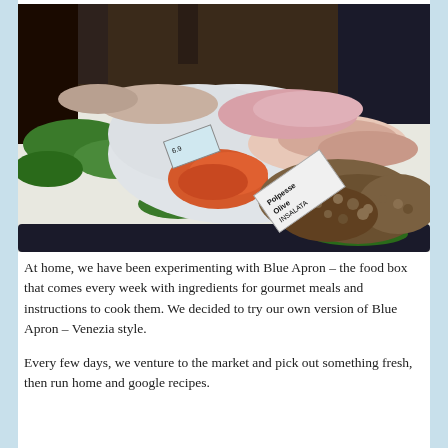[Figure (photo): A fish market display showing various fresh seafood including squid, shrimp, fish fillets, and sea creatures arranged on ice with price signs written in Italian, including one sign reading 'Polpesse Olive' and 'INSALATA'.]
At home, we have been experimenting with Blue Apron – the food box that comes every week with ingredients for gourmet meals and instructions to cook them. We decided to try our own version of Blue Apron – Venezia style.
Every few days, we venture to the market and pick out something fresh, then run home and google recipes.